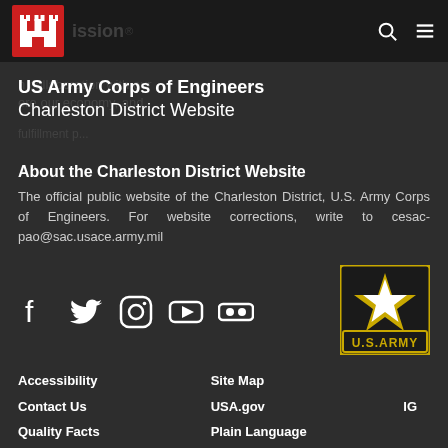US Army Corps of Engineers Charleston District Website
About the Charleston District Website
The official public website of the Charleston District, U.S. Army Corps of Engineers. For website corrections, write to cesac-pao@sac.usace.army.mil
[Figure (logo): Social media icons: Facebook, Twitter, Instagram, YouTube, Flickr]
[Figure (logo): U.S. Army star logo with gold border and U.S.ARMY text]
Accessibility
Site Map
Contact Us
USA.gov
Quality Facts
Plain Language
IG
Link Disclaimer
Small Business
RSS
No Fear Act
Open